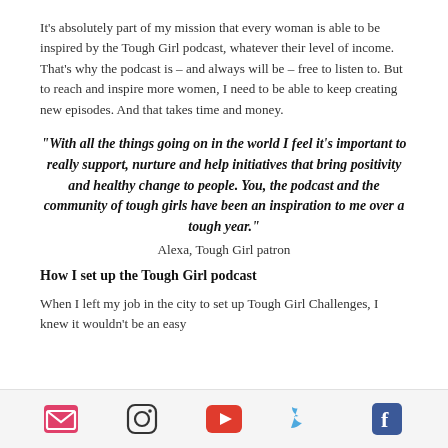It’s absolutely part of my mission that every woman is able to be inspired by the Tough Girl podcast, whatever their level of income. That’s why the podcast is – and always will be – free to listen to. But to reach and inspire more women, I need to be able to keep creating new episodes. And that takes time and money.
“With all the things going on in the world I feel it’s important to really support, nurture and help initiatives that bring positivity and healthy change to people. You, the podcast and the community of tough girls have been an inspiration to me over a tough year.”
Alexa, Tough Girl patron
How I set up the Tough Girl podcast
When I left my job in the city to set up Tough Girl Challenges, I knew it wouldn’t be an easy
Social icons: email, instagram, youtube, twitter, facebook